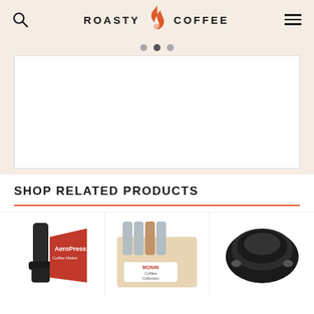ROASTY COFFEE
[Figure (screenshot): Slideshow carousel area with white background and three pagination dots]
SHOP RELATED PRODUCTS
[Figure (photo): Three product images in a row: AeroPress coffee maker with bag, Monin Coffee Collection flavoring bottles set, and a black plastic coffee cup lid]